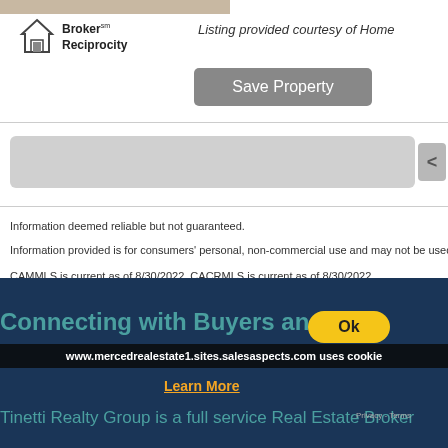[Figure (photo): Partial view of a property photo strip at the top of the page]
[Figure (logo): Broker Reciprocity logo with house icon]
Listing provided courtesy of Home
Save Property
Information deemed reliable but not guaranteed.
Information provided is for consumers' personal, non-commercial use and may not be used for any purpose o
CAMMLS is current as of 8/30/2022. CACRMLS is current as of 8/30/2022.
Connecting with Buyers and S
www.mercedrealestate1.sites.salesaspects.com uses cookie
Ok
Learn More
Tinetti Realty Group is a full service Real Estate Broker